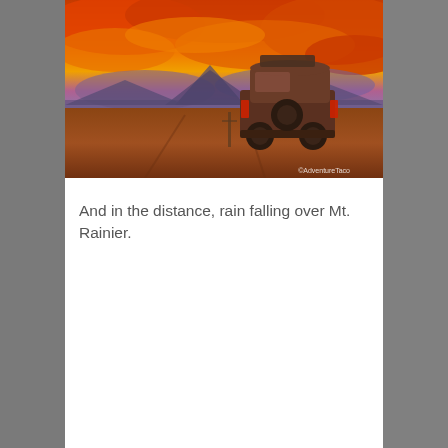[Figure (photo): A truck with a camper shell parked on a dirt road at sunset with a dramatic orange and red sky. Mountains visible in the distance. Watermark reads ©AdventureTaco.]
And in the distance, rain falling over Mt. Rainier.